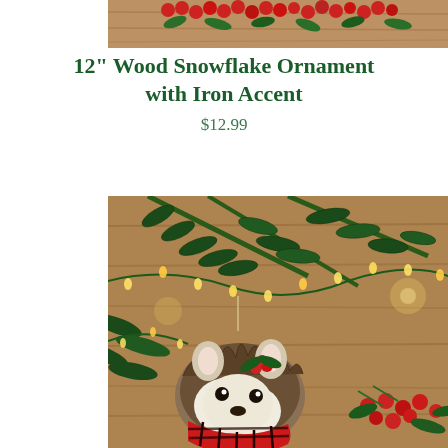[Figure (photo): Top portion of a product photo showing red berries and green holly/pine branches with a wooden background]
12" Wood Snowflake Ornament with Iron Accent
$12.99
[Figure (photo): Christmas ornament hedgehog plush wearing a red buffalo plaid scarf, hanging on a pine Christmas tree branch decorated with string lights and red berries, wooden background]